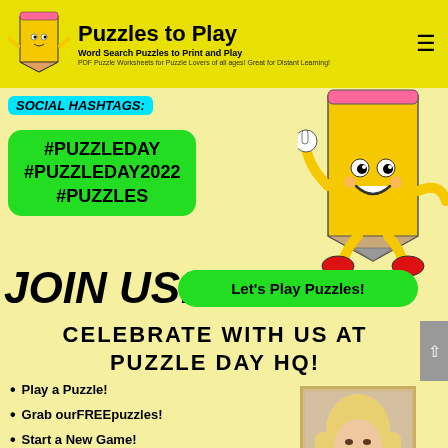Puzzles to Play — Word Search Puzzles to Print and Play. PDF Puzzle Worksheets for Puzzle Lovers of all ages! Great for Distant Learning!
SOCIAL HASHTAGS:
[Figure (illustration): Animated pencil mascot character, yellow pencil with face, hands and red shoes, waving]
#PUZZLEDAY
#PUZZLEDAY2022
#PUZZLES
JOIN US!
Let's Play Puzzles!
CELEBRATE WITH US AT PUZZLE DAY HQ!
Play a Puzzle!
Grab our FREE puzzles!
Start a New Game!
Celebrate! Write a note!
Post a Pic w/details &
[Figure (photo): Photo of a blonde woman smiling, shown in a bordered thumbnail]